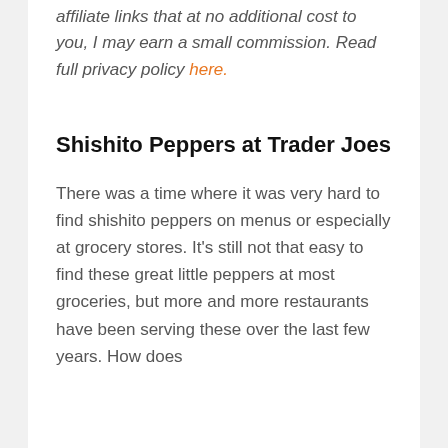affiliate links that at no additional cost to you, I may earn a small commission. Read full privacy policy here.
Shishito Peppers at Trader Joes
There was a time where it was very hard to find shishito peppers on menus or especially at grocery stores. It's still not that easy to find these great little peppers at most groceries, but more and more restaurants have been serving these over the last few years. How does